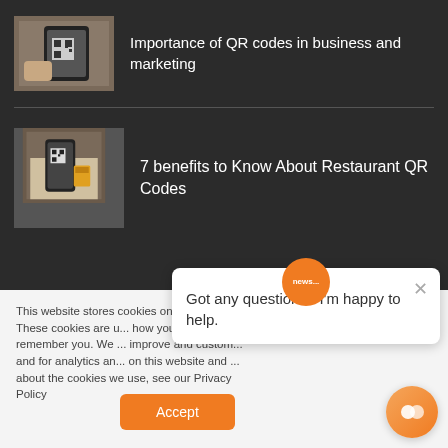[Figure (photo): Person scanning a QR code with a smartphone]
Importance of QR codes in business and marketing
[Figure (photo): Person scanning a QR code with a smartphone at a restaurant]
7 benefits to Know About Restaurant QR Codes
This website stores cookies on your com... These cookies are u... how you interact wit... remember you. We ... improve and custom... and for analytics an... on this website and ... about the cookies we use, see our Privacy Policy
Got any questions? I'm happy to help.